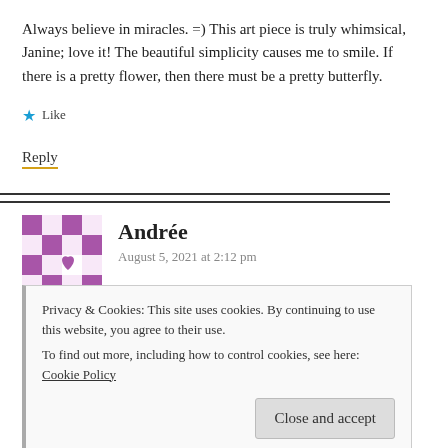Always believe in miracles. =) This art piece is truly whimsical, Janine; love it! The beautiful simplicity causes me to smile. If there is a pretty flower, then there must be a pretty butterfly.
★ Like
Reply
Andrée
August 5, 2021 at 2:12 pm
Privacy & Cookies: This site uses cookies. By continuing to use this website, you agree to their use.
To find out more, including how to control cookies, see here: Cookie Policy
Close and accept